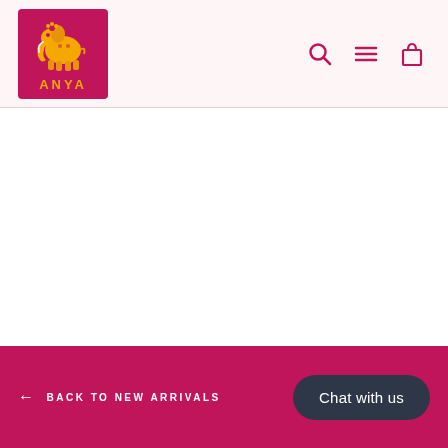[Figure (logo): ANYA brand logo: magenta/crimson square with golden decorative elephant and 'ANYA' text in gold letters]
[Figure (infographic): Navigation icons: search (magnifying glass), menu (hamburger/three lines), and shopping bag icons in crimson/magenta color]
← BACK TO NEW ARRIVALS   Chat with us